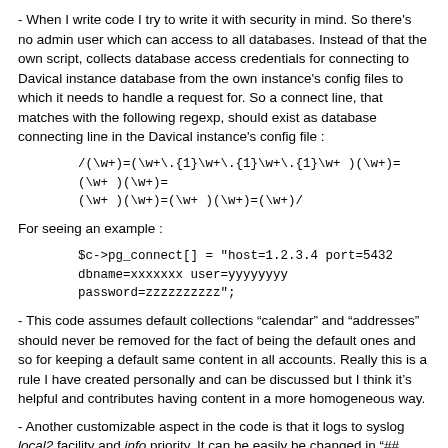- When I write code I try to write it with security in mind. So there's no admin user which can access to all databases. Instead of that the own script, collects database access credentials for connecting to Davical instance database from the own instance's config files to which it needs to handle a request for. So a connect line, that matches with the following regexp, should exist as database connecting line in the Davical instance's config file :
For seeing an example :
- This code assumes default collections "calendar" and "addresses" should never be removed for the fact of being the default ones and so for keeping a default same content in all accounts. Really this is a rule I have created personally and can be discussed but I think it's helpful and contributes having content in a more homogeneous way.
- Another customizable aspect in the code is that it logs to syslog local2 facility and info priority. It can be easily be changed in "## SYSLOG STAFF " section of the code.
- At present, this tool does only contemplate read-only or read-write permissions for collections. For this purpose davical_cli autoadjusts